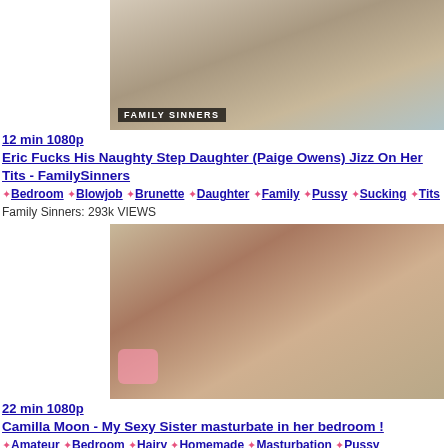[Figure (photo): Video thumbnail for Family Sinners video with brand overlay logo]
12 min 1080p Eric Fucks His Naughty Step Daughter (Paige Owens) Jizz On Her Tits - FamilySinners
Bedroom Blowjob Brunette Daughter Family Pussy Sucking Tits Family Sinners: 293k VIEWS
[Figure (photo): Video thumbnail showing woman on bed with pink socks]
22 min 1080p Camilla Moon - My Sexy Sister masturbate in her bedroom !
Amateur Bedroom Hairy Homemade Masturbation Pussy Sister Solo Camilla Moon: 1M VIEWS
[Figure (photo): Partial video thumbnail at bottom of page]